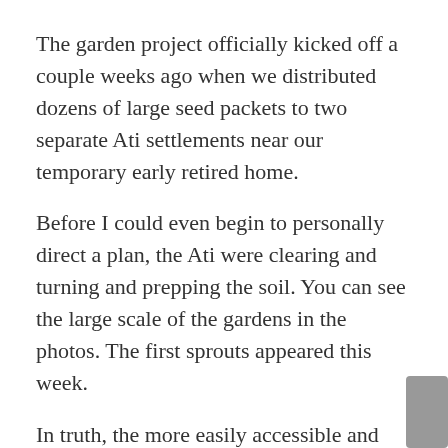The garden project officially kicked off a couple weeks ago when we distributed dozens of large seed packets to two separate Ati settlements near our temporary early retired home.
Before I could even begin to personally direct a plan, the Ati were clearing and turning and prepping the soil. You can see the large scale of the gardens in the photos. The first sprouts appeared this week.
In truth, the more easily accessible and populous, lower Ati settlement already had a large garden – but mostly past its prime. More seed was needed for another planting cycle. More seed and a little